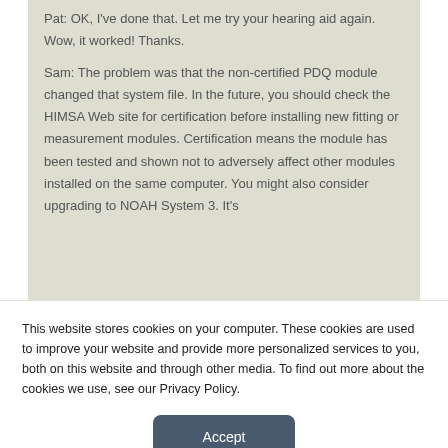Pat: OK, I've done that. Let me try your hearing aid again. Wow, it worked! Thanks.
Sam: The problem was that the non-certified PDQ module changed that system file. In the future, you should check the HIMSA Web site for certification before installing new fitting or measurement modules. Certification means the module has been tested and shown not to adversely affect other modules installed on the same computer. You might also consider upgrading to NOAH System 3. It's
This website stores cookies on your computer. These cookies are used to improve your website and provide more personalized services to you, both on this website and through other media. To find out more about the cookies we use, see our Privacy Policy.